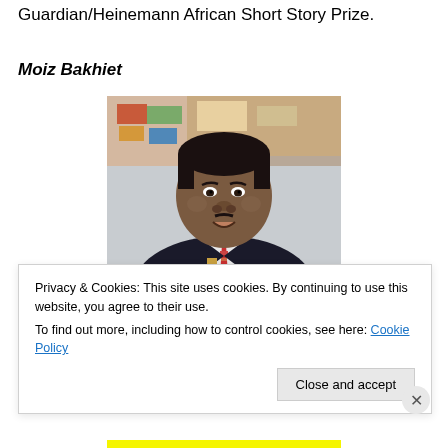Guardian/Heinemann African Short Story Prize.
Moiz Bakhiet
[Figure (photo): Portrait photograph of Moiz Bakhiet, a man in a dark suit with a red patterned tie, smiling, with artwork/bulletin board visible in the background.]
Privacy & Cookies: This site uses cookies. By continuing to use this website, you agree to their use.
To find out more, including how to control cookies, see here: Cookie Policy